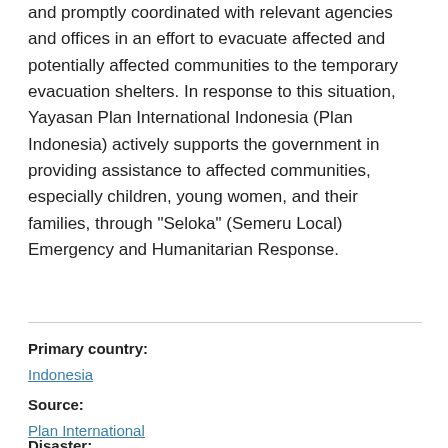and promptly coordinated with relevant agencies and offices in an effort to evacuate affected and potentially affected communities to the temporary evacuation shelters. In response to this situation, Yayasan Plan International Indonesia (Plan Indonesia) actively supports the government in providing assistance to affected communities, especially children, young women, and their families, through "Seloka" (Semeru Local) Emergency and Humanitarian Response.
Primary country:
Indonesia
Source:
Plan International
Disaster: